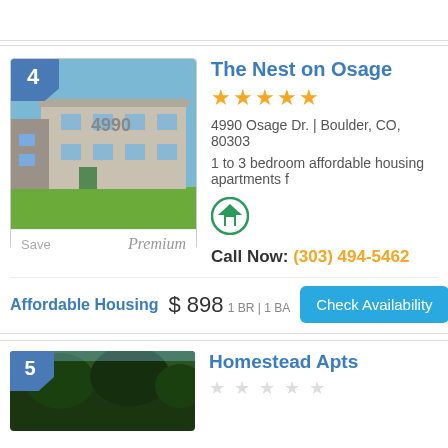[Figure (photo): Apartment building photo for The Nest on Osage with number badge 4]
The Nest on Osage
★★★★★
4990 Osage Dr. | Boulder, CO, 80303
1 to 3 bedroom affordable housing apartments f
[Figure (logo): Equal housing opportunity logo with number 8]
Call Now: (303) 494-5462
Affordable Housing  $ 898  1 BR | 1 BA
Check Availability
[Figure (photo): Apartment building photo for Homestead Apts with number badge 5]
Homestead Apts
★ ★ ★ ★ ★